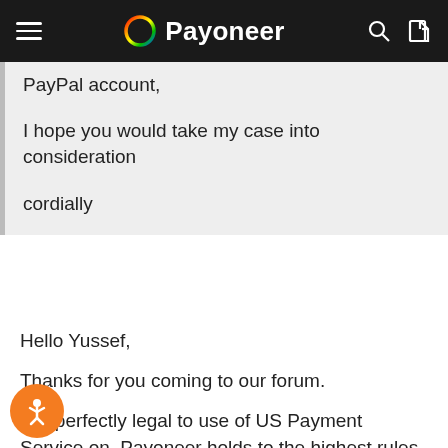Payoneer
PayPal account,

I hope you would take my case into consideration

cordially
Hello Yussef,
Thanks for you coming to our forum.
It is perfectly legal to use of US Payment Service on, Payoneer holds to the highest rules and ations when it comes to the products and services we provide.